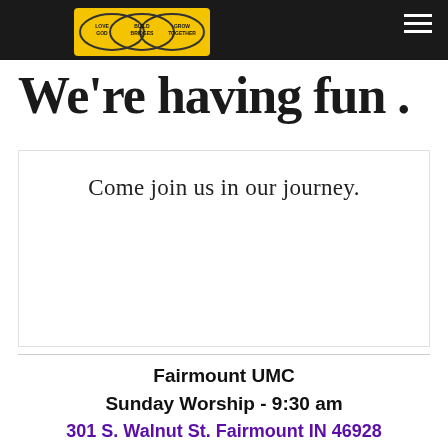[Figure (logo): Three overlapping ovals/circles logo with text: Love God, Build Bridges, Grow Together on yellow/gold background]
We're having fun . . .
Come join us in our journey.
Fairmount UMC
Sunday Worship - 9:30 am
301 S. Walnut St. Fairmount IN 46928
1-765-948-4253
fairmountumc@gmail.com
Facebook - Fairmount UMC